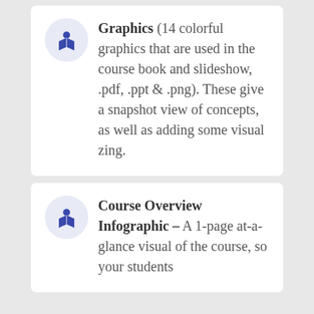Graphics (14 colorful graphics that are used in the course book and slideshow, .pdf, .ppt & .png). These give a snapshot view of concepts, as well as adding some visual zing.
Course Overview Infographic – A 1-page at-a-glance visual of the course, so your students